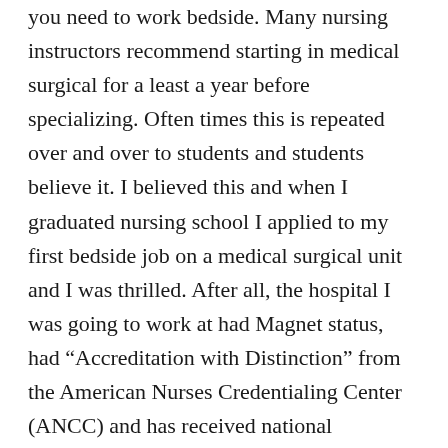you need to work bedside. Many nursing instructors recommend starting in medical surgical for a least a year before specializing. Often times this is repeated over and over to students and students believe it. I believed this and when I graduated nursing school I applied to my first bedside job on a medical surgical unit and I was thrilled. After all, the hospital I was going to work at had Magnet status, had “Accreditation with Distinction” from the American Nurses Credentialing Center (ANCC) and has received national recognition as one of the best hospitals. It was a dream come true and I thought my opportunities there would be endless. Sadly, after six months I was burnt out and walking